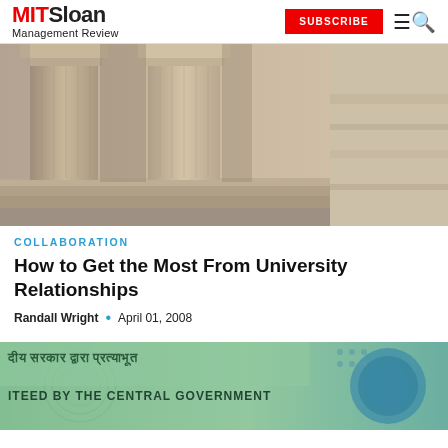MIT Sloan Management Review — SUBSCRIBE
[Figure (photo): Close-up sepia-toned photograph of classical stone columns and steps of a building]
COLLABORATION
How to Get the Most From University Relationships
Randall Wright • April 01, 2008
[Figure (photo): Close-up photograph of an Indian rupee banknote showing Hindi text and 'GUARANTEED BY THE CENTRAL GOVERNMENT']